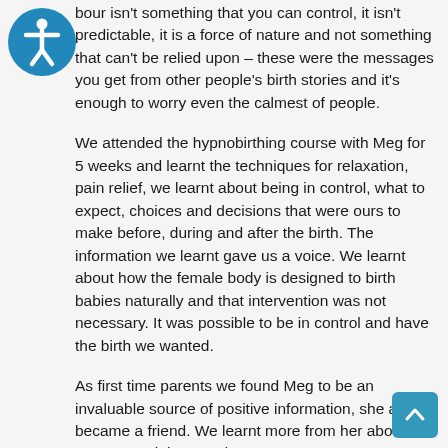[Figure (logo): Accessibility icon — white stick figure on teal/blue circle background]
bour isn't something that you can control, it isn't predictable, it is a force of nature and not something that can't be relied upon – these were the messages you get from other people's birth stories and it's enough to worry even the calmest of people.
We attended the hypnobirthing course with Meg for 5 weeks and learnt the techniques for relaxation, pain relief, we learnt about being in control, what to expect, choices and decisions that were ours to make before, during and after the birth. The information we learnt gave us a voice. We learnt about how the female body is designed to birth babies naturally and that intervention was not necessary. It was possible to be in control and have the birth we wanted.
As first time parents we found Meg to be an invaluable source of positive information, she also became a friend. We learnt more from her about pregnancy, labour and